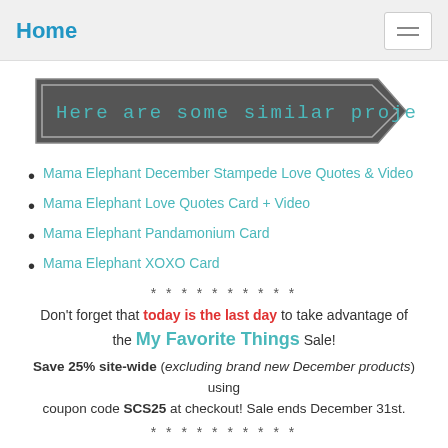Home
[Figure (other): Dark grey arrow/banner shape with text: Here are some similar projects...]
Mama Elephant December Stampede Love Quotes & Video
Mama Elephant Love Quotes Card + Video
Mama Elephant Pandamonium Card
Mama Elephant XOXO Card
* * * * * * * * * *
Don't forget that today is the last day to take advantage of the My Favorite Things Sale!
Save 25% site-wide (excluding brand new December products) using coupon code SCS25 at checkout! Sale ends December 31st.
* * * * * * * * * *
If you're looking for some scrapbooking & stamping inspiration, check out the